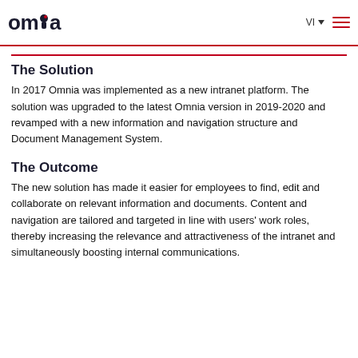omnia | VI | menu
working a flexibility, performance and accessibility to environments and tools
The Solution
In 2017 Omnia was implemented as a new intranet platform. The solution was upgraded to the latest Omnia version in 2019-2020 and revamped with a new information and navigation structure and Document Management System.
The Outcome
The new solution has made it easier for employees to find, edit and collaborate on relevant information and documents. Content and navigation are tailored and targeted in line with users' work roles, thereby increasing the relevance and attractiveness of the intranet and simultaneously boosting internal communications.